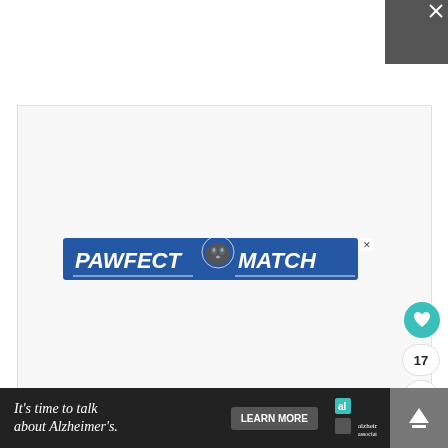[Figure (advertisement): Pawfect Match advertisement banner with blue background, cat face icon in center, bold white text reading PAWFECT MATCH]
[Figure (advertisement): Bottom banner ad: black background, white italic text 'It's time to talk about Alzheimer's.' with Learn More button and Alzheimer's Association logo]
[Figure (infographic): Right side social UI: teal heart/like button, count '17', share button with teal share icon]